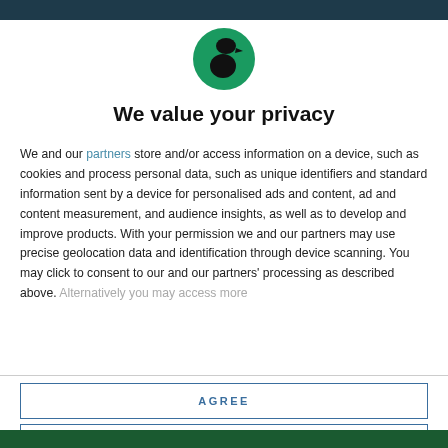[Figure (logo): Circular green logo with a black silhouette figure (person with hat) facing right]
We value your privacy
We and our partners store and/or access information on a device, such as cookies and process personal data, such as unique identifiers and standard information sent by a device for personalised ads and content, ad and content measurement, and audience insights, as well as to develop and improve products. With your permission we and our partners may use precise geolocation data and identification through device scanning. You may click to consent to our and our partners' processing as described above. Alternatively you may access more
AGREE
MORE OPTIONS